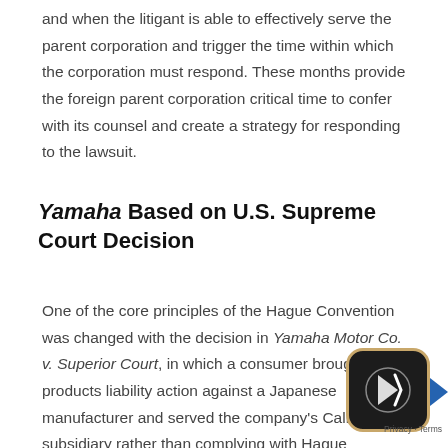and when the litigant is able to effectively serve the parent corporation and trigger the time within which the corporation must respond. These months provide the foreign parent corporation critical time to confer with its counsel and create a strategy for responding to the lawsuit.
Yamaha Based on U.S. Supreme Court Decision
One of the core principles of the Hague Convention was changed with the decision in Yamaha Motor Co. v. Superior Court, in which a consumer brought a products liability action against a Japanese manufacturer and served the company's California subsidiary rather than complying with Hague